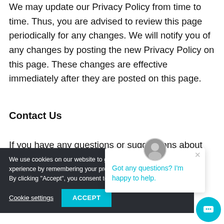We may update our Privacy Policy from time to time. Thus, you are advised to review this page periodically for any changes. We will notify you of any changes by posting the new Privacy Policy on this page. These changes are effective immediately after they are posted on this page.
Contact Us
If you have any questions or suggestions about our
[Figure (screenshot): Cookie consent banner with dark background, text about cookie usage, Cookie settings and ACCEPT buttons. Overlapping chat popup with avatar, close button, and text 'Got any questions? I'm happy to help.' Teal chat circle button in bottom right.]